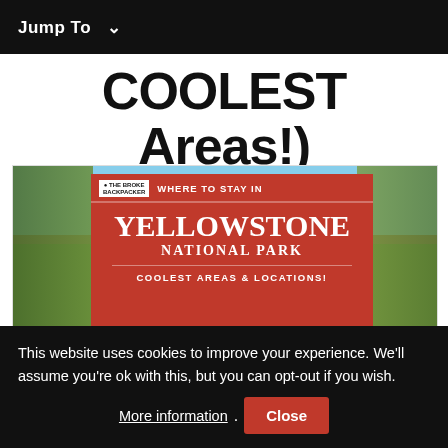Jump To ∨
COOLEST Areas!)
[Figure (photo): The Broke Backpacker branded image showing a red sign for Yellowstone National Park with text: WHERE TO STAY IN, YELLOWSTONE NATIONAL PARK, COOLEST AREAS & LOCATIONS!]
This website uses cookies to improve your experience. We'll assume you're ok with this, but you can opt-out if you wish. More information. Close